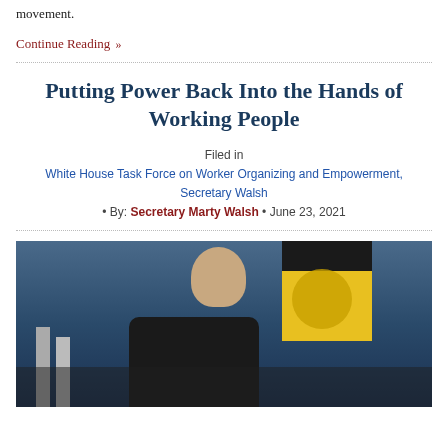movement.
Continue Reading »
Putting Power Back Into the Hands of Working People
Filed in
White House Task Force on Worker Organizing and Empowerment, Secretary Walsh
• By: Secretary Marty Walsh • June 23, 2021
[Figure (photo): Photo of Secretary Marty Walsh speaking at a podium with a yellow banner and blue curtain backdrop, audience visible in background]